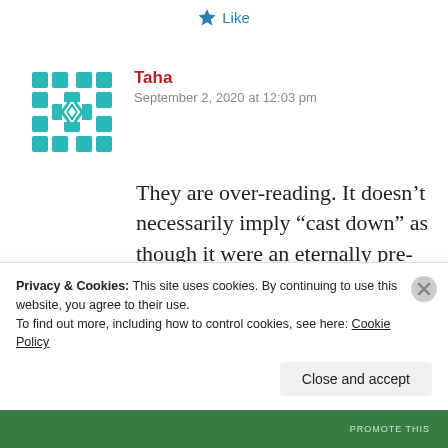[Figure (other): Like button with blue star icon]
[Figure (illustration): Teal geometric/diamond pattern avatar icon]
Taha
September 2, 2020 at 12:03 pm
They are over-reading. It doesn’t necessarily imply “cast down” as though it were an eternally pre-existent thing. It just means ‘send’, ‘cast’ generally. Scroll down to form 4 and see the
Privacy & Cookies: This site uses cookies. By continuing to use this website, you agree to their use.
To find out more, including how to control cookies, see here: Cookie Policy
Close and accept